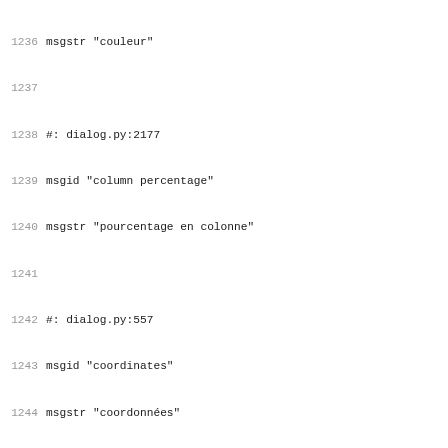1236 msgstr "couleur"
1237
1238 #: dialog.py:2177
1239 msgid "column percentage"
1240 msgstr "pourcentage en colonne"
1241
1242 #: dialog.py:557
1243 msgid "coordinates"
1244 msgstr "coordonnées"
1245
1246 #: dialog.py:2298 dialog.py:2697
1247 msgid "corpus"
1248 msgstr "corpus"
1249
1250 #: dialog.py:557
1251 msgid "correlations"
1252 msgstr "corrélations"
1253
1254 #: OptionAlceste.py:30
1255 msgid "double on RST"
1256 msgstr "double sur RST"
1257
1258 #: dialog.py:2161
1259 msgid "expected values"
1260 msgstr "valeurs attendues"
1261
1262 #: dialog.py:1481
1263 msgid "form"
1264 msgstr "forme"
1265
1266 #: dialog.py:2021
1267 msgid "frequency"